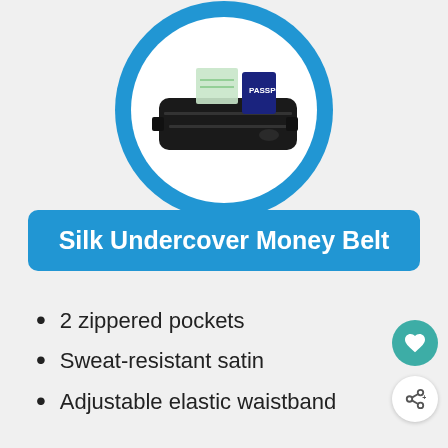[Figure (photo): A black travel money belt/waist pouch with two zippered compartments, shown with cash and a passport tucked inside, displayed within a blue circle]
Silk Undercover Money Belt
2 zippered pockets
Sweat-resistant satin
Adjustable elastic waistband